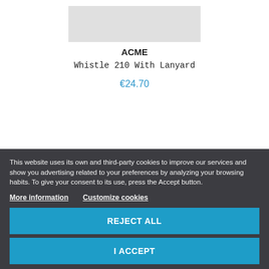[Figure (photo): Product image of ACME Whistle 210 With Lanyard, partially visible at the top of the page]
ACME
Whistle 210 With Lanyard
€24.70
This website uses its own and third-party cookies to improve our services and show you advertising related to your preferences by analyzing your browsing habits. To give your consent to its use, press the Accept button.
More information   Customize cookies
REJECT ALL
I ACCEPT